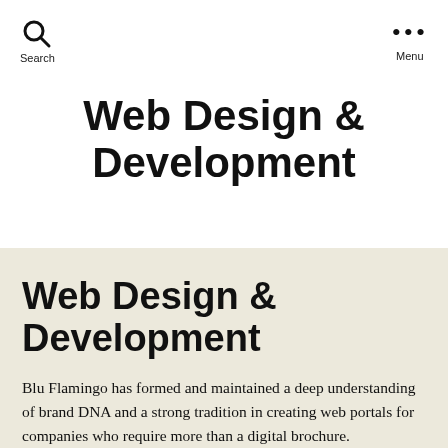Search   Menu
Web Design & Development
Web Design & Development
Blu Flamingo has formed and maintained a deep understanding of brand DNA and a strong tradition in creating web portals for companies who require more than a digital brochure.